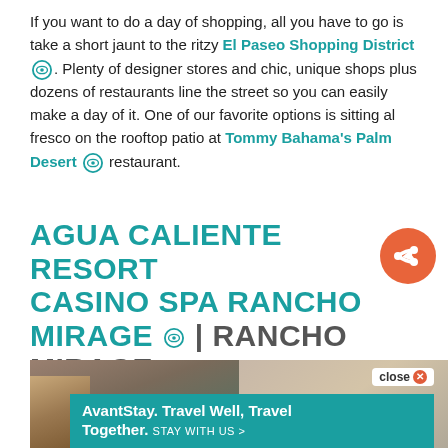If you want to do a day of shopping, all you have to go is take a short jaunt to the ritzy El Paseo Shopping District. Plenty of designer stores and chic, unique shops plus dozens of restaurants line the street so you can easily make a day of it. One of our favorite options is sitting al fresco on the rooftop patio at Tommy Bahama's Palm Desert restaurant.
AGUA CALIENTE RESORT CASINO SPA RANCHO MIRAGE | RANCHO MIRAGE
[Figure (photo): Spa photo showing a person receiving a back massage, split composition. Below is an advertisement banner for AvantStay with text 'Travel Well, Travel Together. STAY WITH US >' on a teal background, with a thumbnail image of a building on the left.]